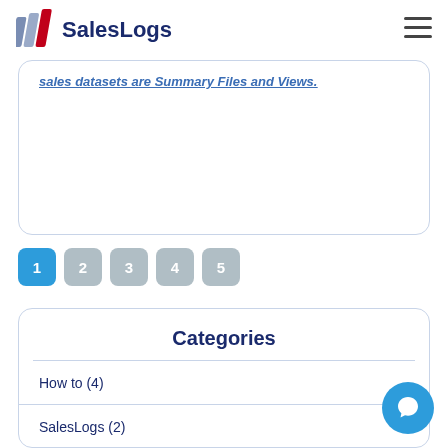SalesLogs
sales datasets are Summary Files and Views.
1
2
3
4
5
Categories
How to (4)
SalesLogs (2)
Template Setups (1)